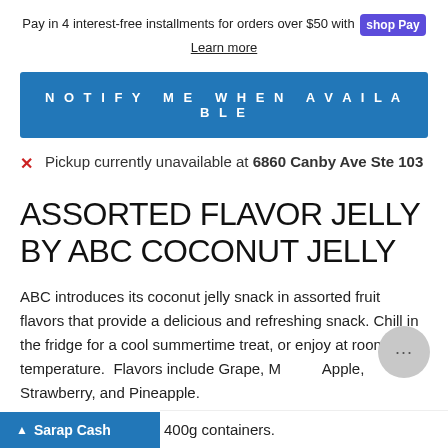Pay in 4 interest-free installments for orders over $50 with Shop Pay
Learn more
NOTIFY ME WHEN AVAILABLE
Pickup currently unavailable at 6860 Canby Ave Ste 103
ASSORTED FLAVOR JELLY BY ABC COCONUT JELLY
ABC introduces its coconut jelly snack in assorted fruit flavors that provide a delicious and refreshing snack. Chill in the fridge for a cool summertime treat, or enjoy at room temperature.  Flavors include Grape, M... Apple, Strawberry, and Pineapple.
400g containers.
Sarap Cash